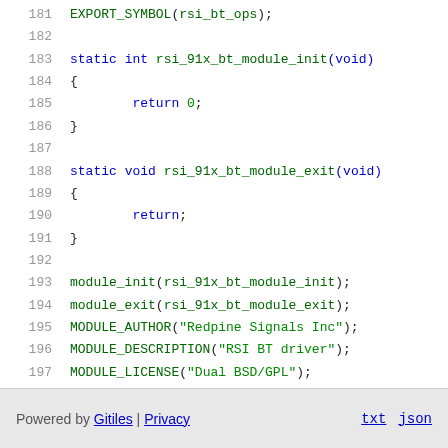181 EXPORT_SYMBOL(rsi_bt_ops);
182 
183 static int rsi_91x_bt_module_init(void)
184 {
185     return 0;
186 }
187 
188 static void rsi_91x_bt_module_exit(void)
189 {
190     return;
191 }
192 
193 module_init(rsi_91x_bt_module_init);
194 module_exit(rsi_91x_bt_module_exit);
195 MODULE_AUTHOR("Redpine Signals Inc");
196 MODULE_DESCRIPTION("RSI BT driver");
197 MODULE_LICENSE("Dual BSD/GPL");
Powered by Gitiles | Privacy   txt  json